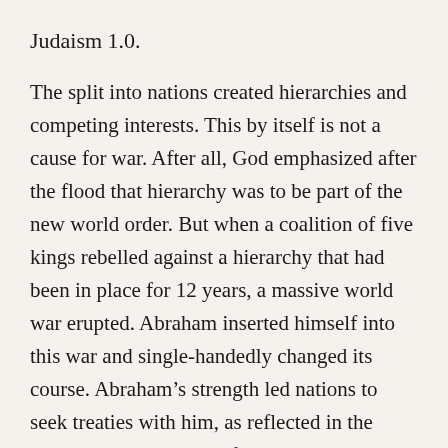Judaism 1.0.
The split into nations created hierarchies and competing interests. This by itself is not a cause for war. After all, God emphasized after the flood that hierarchy was to be part of the new world order. But when a coalition of five kings rebelled against a hierarchy that had been in place for 12 years, a massive world war erupted. Abraham inserted himself into this war and single-handedly changed its course. Abraham’s strength led nations to seek treaties with him, as reflected in the accords with the King of Salem and then King of Gerar...